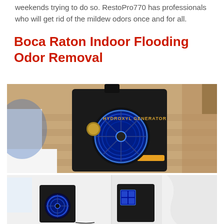weekends trying to do so. RestoPro770 has professionals who will get rid of the mildew odors once and for all.
Boca Raton Indoor Flooding Odor Removal
[Figure (photo): A black Hydroxyl Generator machine with a blue illuminated circular fan, sitting on a wood-plank floor near a white baseboard. The machine label reads 'HYDROXYL GENERATOR'.]
[Figure (photo): Two black air treatment/odor removal machines with blue illuminated fans placed in a white room. A white plastic-covered area is visible on the right side.]